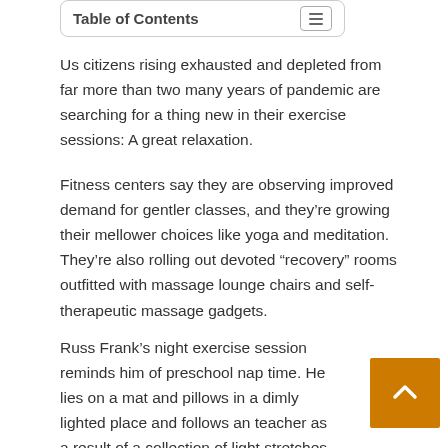Table of Contents
Us citizens rising exhausted and depleted from far more than two many years of pandemic are searching for a thing new in their exercise sessions: A great relaxation.
Fitness centers say they are observing improved demand for gentler classes, and they’re growing their mellower choices like yoga and meditation. They’re also rolling out devoted “recovery” rooms outfitted with massage lounge chairs and self-therapeutic massage gadgets.
Russ Frank’s night exercise session reminds him of preschool nap time. He lies on a mat and pillows in a dimly lighted place and follows an teacher as a result of a collection of light stretches when calming audio performs.